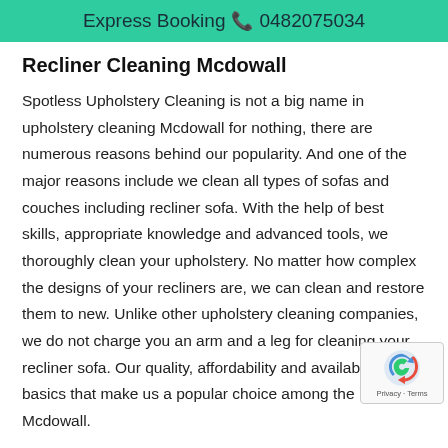Express Booking ☎ 0482075034
Recliner Cleaning Mcdowall
Spotless Upholstery Cleaning is not a big name in upholstery cleaning Mcdowall for nothing, there are numerous reasons behind our popularity. And one of the major reasons include we clean all types of sofas and couches including recliner sofa. With the help of best skills, appropriate knowledge and advanced tools, we thoroughly clean your upholstery. No matter how complex the designs of your recliners are, we can clean and restore them to new. Unlike other upholstery cleaning companies, we do not charge you an arm and a leg for cleaning your recliner sofa. Our quality, affordability and availability are basics that make us a popular choice among the locals in Mcdowall.
Couch Dry Cleaning Mcdowall